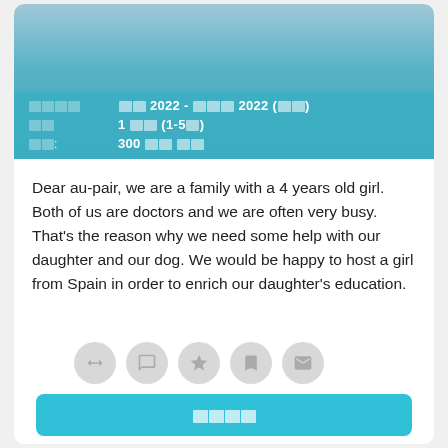[Figure (photo): Family outdoors photo with teal/blue overlay showing program details in Korean]
Dear au-pair, we are a family with a 4 years old girl. Both of us are doctors and we are often very busy. That's the reason why we need some help with our daughter and our dog. We would be happy to host a girl from Spain in order to enrich our daughter's education.
[Figure (other): Row of 5 circular icon buttons (share, comment, star, save, mail) in light grey]
[Korean button text: contact/apply button]